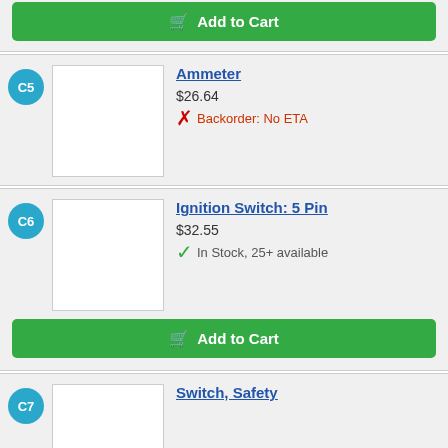[Figure (screenshot): Add to Cart button (partial top of page) for previous item]
C5
[Figure (photo): Product thumbnail placeholder for Ammeter]
Ammeter
$26.64
Backorder: No ETA
C6
[Figure (photo): Product thumbnail placeholder for Ignition Switch: 5 Pin]
Ignition Switch: 5 Pin
$32.55
In Stock, 25+ available
Add to Cart
C7
Switch, Safety